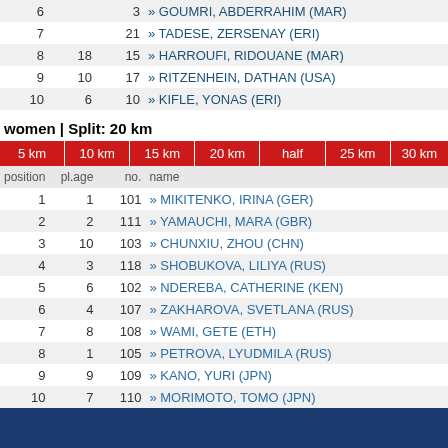| position | pl.age | no. | name |
| --- | --- | --- | --- |
| 6 |  | 3 | » GOUMRI, ABDERRAHIM (MAR) |
| 7 |  | 21 | » TADESE, ZERSENAY (ERI) |
| 8 | 18 | 15 | » HARROUFI, RIDOUANE (MAR) |
| 9 | 10 | 17 | » RITZENHEIN, DATHAN (USA) |
| 10 | 6 | 10 | » KIFLE, YONAS (ERI) |
women | Split: 20 km
| 5 km | 10 km | 15 km | 20 km | half | 25 km | 30 km |
| --- | --- | --- | --- | --- | --- | --- |
| 1 | 1 | 101 | » MIKITENKO, IRINA (GER) |
| 2 | 2 | 111 | » YAMAUCHI, MARA (GBR) |
| 3 | 10 | 103 | » CHUNXIU, ZHOU (CHN) |
| 4 | 3 | 118 | » SHOBUKOVA, LILIYA (RUS) |
| 5 | 6 | 102 | » NDEREBA, CATHERINE (KEN) |
| 6 | 4 | 107 | » ZAKHAROVA, SVETLANA (RUS) |
| 7 | 8 | 108 | » WAMI, GETE (ETH) |
| 8 | 1 | 105 | » PETROVA, LYUDMILA (RUS) |
| 9 | 9 | 109 | » KANO, YURI (JPN) |
| 10 | 7 | 110 | » MORIMOTO, TOMO (JPN) |